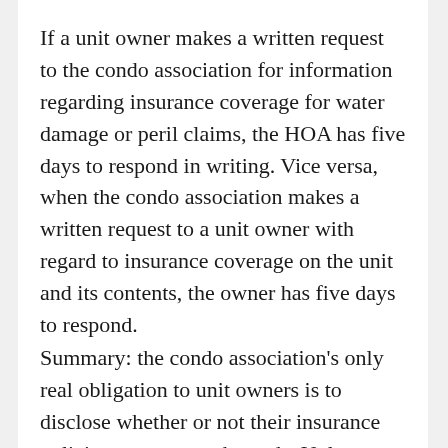If a unit owner makes a written request to the condo association for information regarding insurance coverage for water damage or peril claims, the HOA has five days to respond in writing. Vice versa, when the condo association makes a written request to a unit owner with regard to insurance coverage on the unit and its contents, the owner has five days to respond.
Summary: the condo association's only real obligation to unit owners is to disclose whether or not their insurance policies cover water hazards. Unless a condo owner is willing to self-insure for damages due to